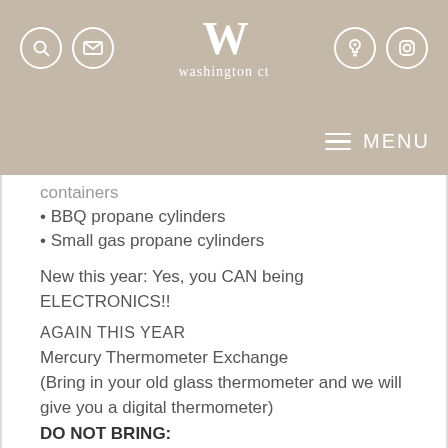washington ct
containers
• BBQ propane cylinders
• Small gas propane cylinders
New this year: Yes, you CAN being ELECTRONICS!!
AGAIN THIS YEAR
Mercury Thermometer Exchange
(Bring in your old glass thermometer and we will give you a digital thermometer)
DO NOT BRING:
• Alkaline batteries